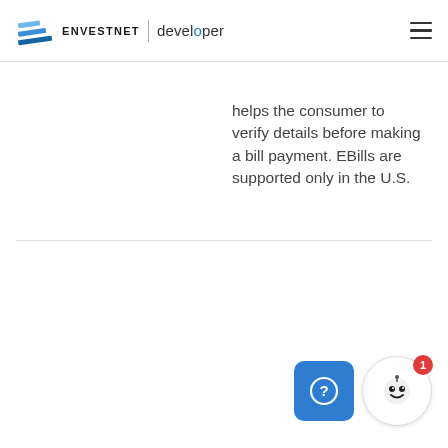ENVESTNET | developer
helps the consumer to verify details before making a bill payment. EBills are supported only in the U.S.
[Figure (screenshot): Help button (blue rounded square with question mark icon) and chat bot button (circular with robot face icon and red badge showing '1') in bottom right corner]